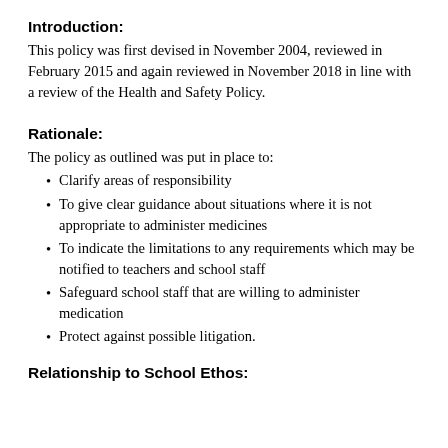Introduction:
This policy was first devised in November 2004, reviewed in February 2015 and again reviewed in November 2018 in line with a review of the Health and Safety Policy.
Rationale:
The policy as outlined was put in place to:
Clarify areas of responsibility
To give clear guidance about situations where it is not appropriate to administer medicines
To indicate the limitations to any requirements which may be notified to teachers and school staff
Safeguard school staff that are willing to administer medication
Protect against possible litigation.
Relationship to School Ethos: